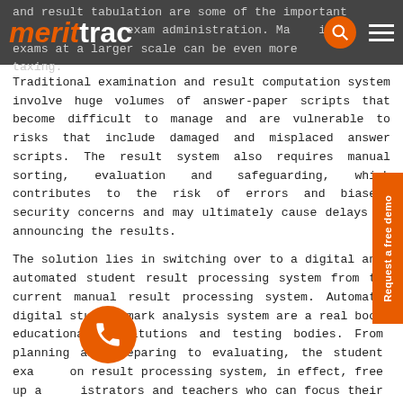merittrac [logo with search and menu icons]
and result tabulation are some of the important tasks for exam administration. Managing exams at a larger scale can be even more taxing.
Traditional examination and result computation system involve huge volumes of answer-paper scripts that become difficult to manage and are vulnerable to risks that include damaged and misplaced answer scripts. The result system also requires manual sorting, evaluation and safeguarding, which contributes to the risk of errors and biases, security concerns and may ultimately cause delays in announcing the results.
The solution lies in switching over to a digital and automated student result processing system from the current manual result processing system. Automated digital student mark analysis system are a real boon educational institutions and testing bodies. From planning and preparing to evaluating, the student examination result processing system, in effect, frees up administrators and teachers who can focus their attention on the other important tasks.